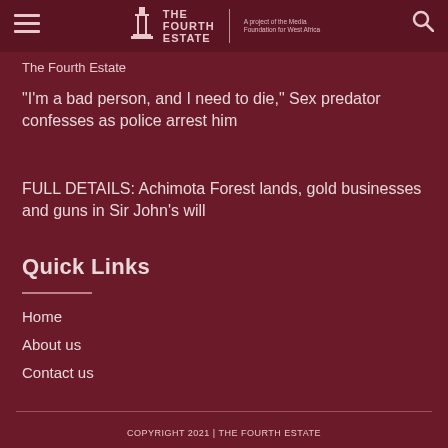THE FOURTH ESTATE | A project of the Media Foundation for West Africa
The Fourth Estate
“I’m a bad person, and I need to die,” Sex predator confesses as police arrest him
FULL DETAILS: Achimota Forest lands, gold businesses and guns in Sir John’s will
Quick Links
Home
About us
Contact us
COPYRIGHT 2021 | THE FOURTH ESTATE